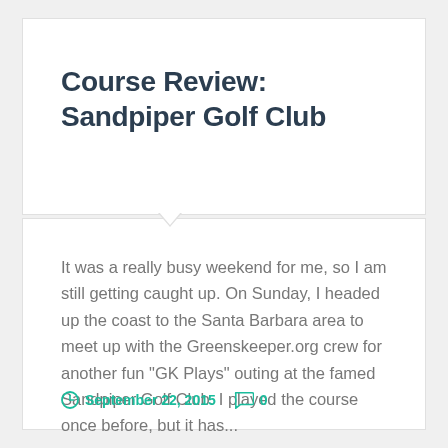Course Review: Sandpiper Golf Club
It was a really busy weekend for me, so I am still getting caught up. On Sunday, I headed up the coast to the Santa Barbara area to meet up with the Greenskeeper.org crew for another fun “GK Plays” outing at the famed Sandpiper Golf Club. I played the course once before, but it has...
Continue Reading →
September 22, 2015  0